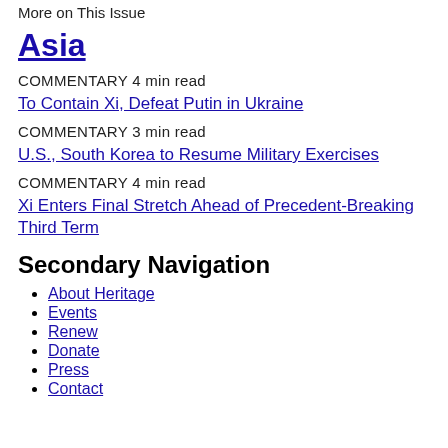More on This Issue
Asia
COMMENTARY 4 min read
To Contain Xi, Defeat Putin in Ukraine
COMMENTARY 3 min read
U.S., South Korea to Resume Military Exercises
COMMENTARY 4 min read
Xi Enters Final Stretch Ahead of Precedent-Breaking Third Term
Secondary Navigation
About Heritage
Events
Renew
Donate
Press
Contact